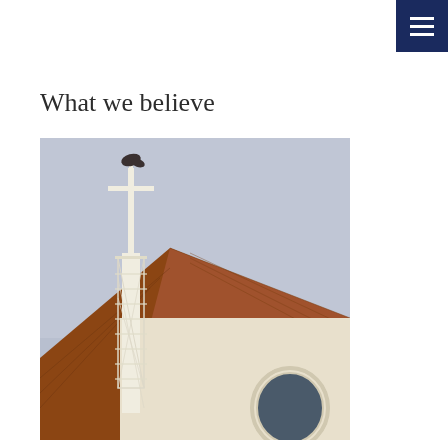[Figure (other): Dark navy blue hamburger menu button in the top-right corner with three white horizontal lines]
What we believe
[Figure (photo): Close-up photograph of a church building showing a white metal steeple with a cross on top against a pale blue-grey sky, and a copper/rust-colored metal roof with a cream-colored wall and arched round window below]